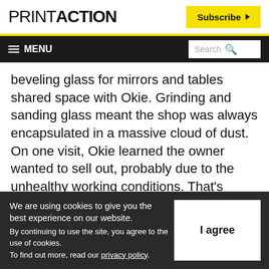PRINTACTION
beveling glass for mirrors and tables shared space with Okie. Grinding and sanding glass meant the shop was always encapsulated in a massive cloud of dust. On one visit, Okie learned the owner wanted to sell out, probably due to the unhealthy working conditions. That's when a lightning bolt of an
We are using cookies to give you the best experience on our website. By continuing to use the site, you agree to the use of cookies. To find out more, read our privacy policy.